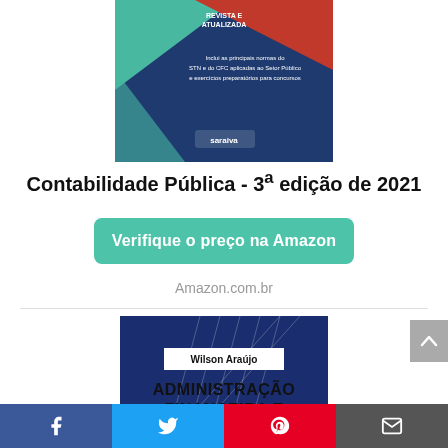[Figure (illustration): Book cover for Contabilidade Pública 3rd edition – Saraiva, with teal/red/dark-blue geometric design and text about STN and CFC norms applied to public sector]
Contabilidade Pública - 3ª edição de 2021
[Figure (illustration): Green button: Verifique o preço na Amazon]
Amazon.com.br
[Figure (illustration): Book cover for Administração Financeira e Orçamentária by Wilson Araújo – dark blue with white geometric line pattern]
ADMINISTRAÇÃO FINANCEIRA E
Facebook  Twitter  Pinterest  Email